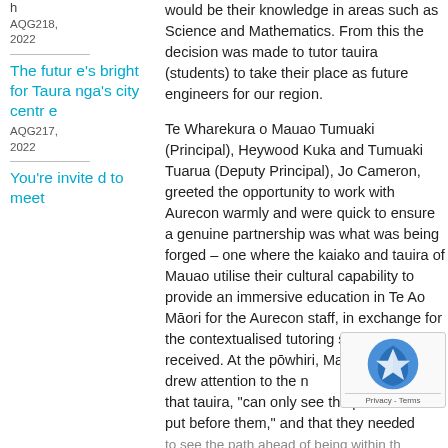h
AQG218, 2022
The future's bright for Tauranga's city centre
AQG217, 2022
You're invited to meet
would be their knowledge in areas such as Science and Mathematics. From this the decision was made to tutor tauira (students) to take their place as future engineers for our region.
Te Wharekura o Mauao Tumuaki (Principal), Heywood Kuka and Tumuaki Tuarua (Deputy Principal), Jo Cameron, greeted the opportunity to work with Aurecon warmly and were quick to ensure a genuine partnership was what was being forged – one where the kaiako and tauira of Mauao utilise their cultural capability to provide an immersive education in Te Ao Māori for the Aurecon staff, in exchange for the contextualised tutoring support being received. At the pōwhiri, Matua Heywood drew attention to the n that tauira, "can only see the path put before them," and that they needed to see the path ahead of being within the